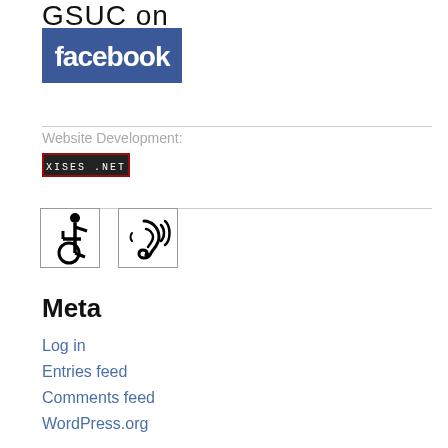GSUC on
[Figure (logo): Facebook logo — white text 'facebook' on blue background]
Website Development:
[Figure (logo): XISES.NET logo — black background with white text 'XISES .NET' and red border]
[Figure (illustration): Accessibility icons: wheelchair accessibility symbol and hearing loop (ear with sound waves) symbol]
Meta
Log in
Entries feed
Comments feed
WordPress.org